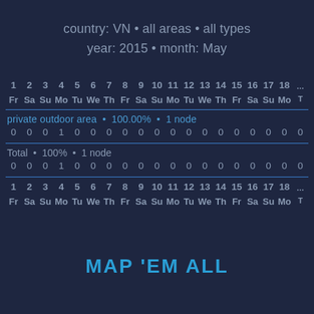country: VN • all areas • all types
year: 2015 • month: May
| 1 | 2 | 3 | 4 | 5 | 6 | 7 | 8 | 9 | 10 | 11 | 12 | 13 | 14 | 15 | 16 | 17 | 18 |
| --- | --- | --- | --- | --- | --- | --- | --- | --- | --- | --- | --- | --- | --- | --- | --- | --- | --- |
| Fr | Sa | Su | Mo | Tu | We | Th | Fr | Sa | Su | Mo | Tu | We | Th | Fr | Sa | Su | Mo |
| private outdoor area • 100.00% • 1 node |
| 0 | 0 | 0 | 1 | 0 | 0 | 0 | 0 | 0 | 0 | 0 | 0 | 0 | 0 | 0 | 0 | 0 | 0 |
| Total • 100% • 1 node |
| 0 | 0 | 0 | 1 | 0 | 0 | 0 | 0 | 0 | 0 | 0 | 0 | 0 | 0 | 0 | 0 | 0 | 0 |
| 1 | 2 | 3 | 4 | 5 | 6 | 7 | 8 | 9 | 10 | 11 | 12 | 13 | 14 | 15 | 16 | 17 | 18 |
| Fr | Sa | Su | Mo | Tu | We | Th | Fr | Sa | Su | Mo | Tu | We | Th | Fr | Sa | Su | Mo |
MAP 'EM ALL